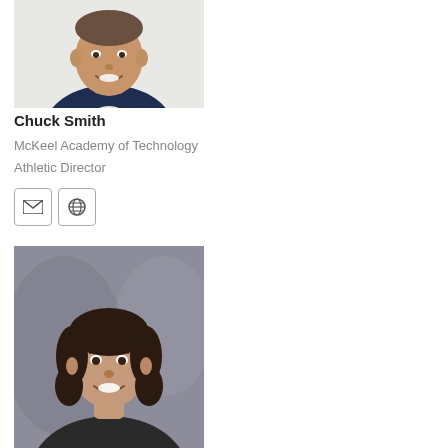[Figure (photo): Headshot of Chuck Smith, a man in a navy blue jacket, smiling, light background]
Chuck Smith
McKeel Academy of Technology
Athletic Director
[Figure (infographic): Email icon button (envelope)]
[Figure (infographic): Website/globe icon button]
[Figure (photo): Headshot of a woman with long curly dark hair, smiling, gray background]